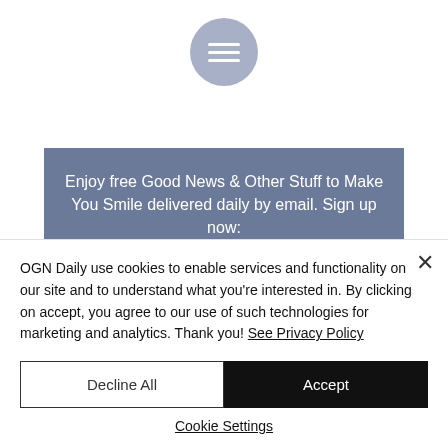[Figure (illustration): Hamburger menu button — a light blue-grey circle with three white horizontal lines]
Enjoy free Good News & Other Stuff to Make You Smile delivered daily by email. Sign up now:
Enter your email here*
OGN Daily use cookies to enable services and functionality on our site and to understand what you're interested in. By clicking on accept, you agree to our use of such technologies for marketing and analytics. Thank you! See Privacy Policy
Decline All
Accept
Cookie Settings